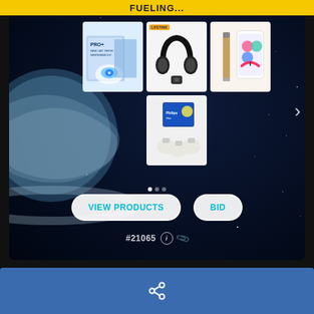FUELING...
[Figure (screenshot): Product auction card with dark starfield background showing 4 product images: LED teeth whitening kit, Bluetooth headphones, smart pen/app device, Philips Hue smart bulbs. Has VIEW PRODUCTS and BID buttons, reference number #21065, and navigation arrow.]
#21065
[Figure (screenshot): Blue bottom bar with share icon]